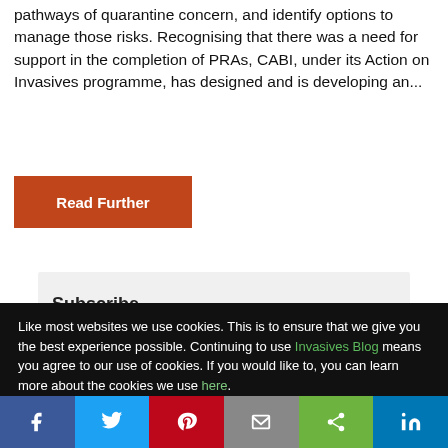pathways of quarantine concern, and identify options to manage those risks. Recognising that there was a need for support in the completion of PRAs, CABI, under its Action on Invasives programme, has designed and is developing an...
Read Further
Like most websites we use cookies. This is to ensure that we give you the best experience possible. Continuing to use Invasives Blog means you agree to our use of cookies. If you would like to, you can learn more about the cookies we use here.
Close the banner